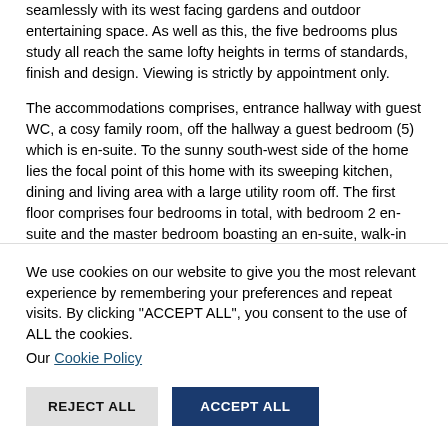seamlessly with its west facing gardens and outdoor entertaining space. As well as this, the five bedrooms plus study all reach the same lofty heights in terms of standards, finish and design. Viewing is strictly by appointment only.
The accommodations comprises, entrance hallway with guest WC, a cosy family room, off the hallway a guest bedroom (5) which is en-suite. To the sunny south-west side of the home lies the focal point of this home with its sweeping kitchen, dining and living area with a large utility room off. The first floor comprises four bedrooms in total, with bedroom 2 en-suite and the master bedroom boasting an en-suite, walk-in wardrobe and access to the large west facing rear garden.
We use cookies on our website to give you the most relevant experience by remembering your preferences and repeat visits. By clicking "ACCEPT ALL", you consent to the use of ALL the cookies.
Our Cookie Policy